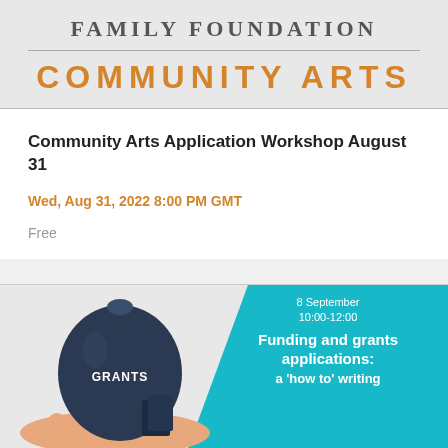FAMILY FOUNDATION
COMMUNITY ARTS
Community Arts Application Workshop August 31
Wed, Aug 31, 2022 8:00 PM GMT
Free
[Figure (illustration): Funding and grants applications event banner with teal background, illustration of hands holding a money bag labeled GRANTS, with text '8 September 10:00-12:00, Funding and grants applications: a how to writing']